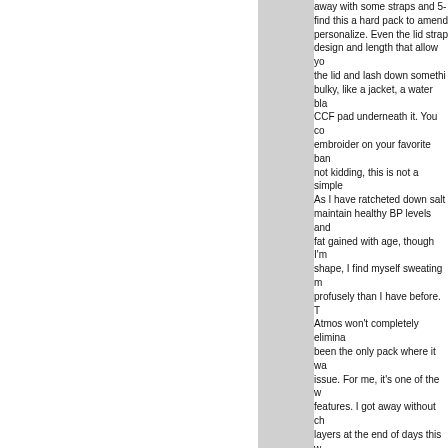away with some straps and 5- find this a hard pack to amend personalize. Even the lid strap design and length that allow yo the lid and lash down somethi bulky, like a jacket, a water bla CCF pad underneath it. You co embroider on your favorite ban not kidding, this is not a simple As I have ratcheted down salt maintain healthy BP levels and fat gained with age, though I'm shape, I find myself sweating n profusely than I have before. T Atmos won't completely elimina been the only pack where it wa issue. For me, it's one of the w features. I got away without ch layers at the end of days this w a first!!!! I would go to the Osp use their display of the pack to you think and try to visualize w could do. It's not an issue for n creativity seems limited to wha out of an old Gibson and what shaped out of wood and nails. caveat would be I only have ab miles on this pack so far, thoug was fairly diverse. 55 miles in t Canyon, A Tongue Mt. range tr A fine detail I have never cluib